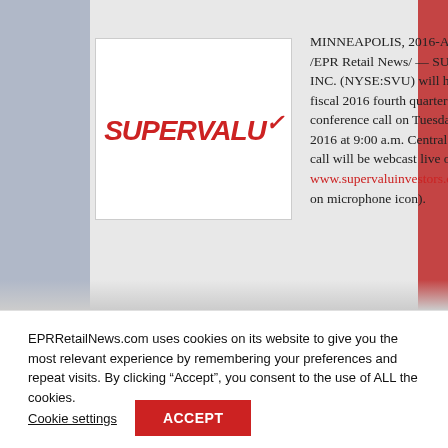[Figure (logo): SUPERVALU INC. logo in red italicized bold text inside a white box]
MINNEAPOLIS, 2016-Apr-18 — /EPR Retail News/ — SUPERVALU INC. (NYSE:SVU) will hold its fiscal 2016 fourth quarter conference call on Tuesday April 26, 2016 at 9:00 a.m. Central time. The call will be webcast live online at www.supervaluinvestors.com (click on microphone icon).
EPRRetailNews.com uses cookies on its website to give you the most relevant experience by remembering your preferences and repeat visits. By clicking “Accept”, you consent to the use of ALL the cookies.
Cookie settings
ACCEPT